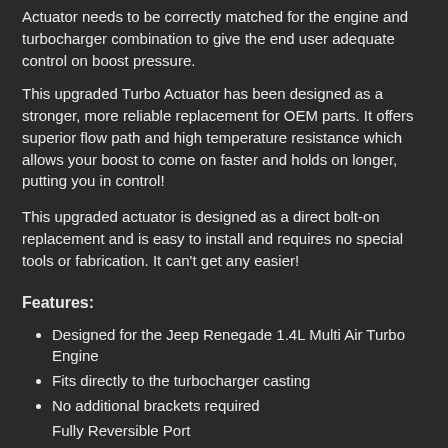Actuator needs to be correctly matched for the engine and turbocharger combination to give the end user adequate control on boost pressure.
This upgraded Turbo Actuator has been designed as a stronger, more reliable replacement for OEM parts. It offers superior flow path and high temperature resistance which allows your boost to come on faster and holds on longer, putting you in control!
This upgraded actuator is designed as a direct bolt-on replacement and is easy to install and requires no special tools or fabrication. It can't get any easier!
Features:
Designed for the Jeep Renegade 1.4L Multi Air Turbo Engine
Fits directly to the turbocharger casting
No additional brackets required
Fully Reversible Port